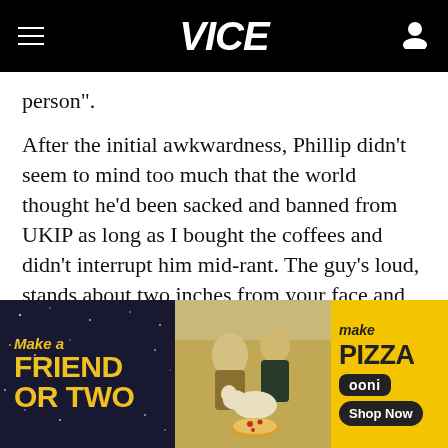VICE
person".
After the initial awkwardness, Phillip didn't seem to mind too much that the world thought he'd been sacked and banned from UKIP as long as I bought the coffees and didn't interrupt him mid-rant. The guy's loud, stands about two inches from your face and gets quite red-faced when he talks – it's always awkward, but in all
[Figure (photo): Advertisement banner: 'Make a Friend or Two' on dark background on left, photo of people and dogs at a picnic with pizza in the middle, and 'Make Pizza - ooni - Shop Now' on yellow background on right]